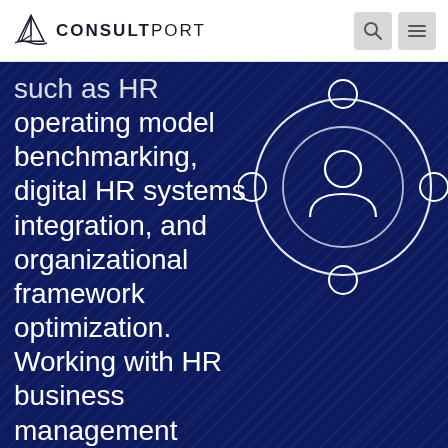CONSULTPORT
such as HR operating model benchmarking, digital HR systems integration, and organizational framework optimization. Working with HR business management specialists maximizes the value
[Figure (illustration): White line icon of a person/user surrounded by a circular network with four smaller circles at cardinal points, on dark navy background]